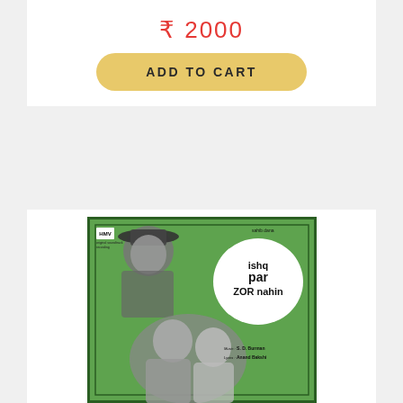₹ 2000
ADD TO CART
[Figure (photo): Vinyl record album cover for 'Ishq Par Zor Nahin' on green background featuring actors. Music by S. D. Burman, Lyrics by Anand Bakshi.]
[Figure (illustration): Yellow envelope / mail icon]